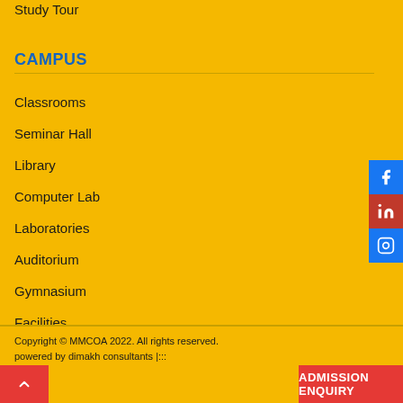Study Tour
CAMPUS
Classrooms
Seminar Hall
Library
Computer Lab
Laboratories
Auditorium
Gymnasium
Facilities
Copyright © MMCOA 2022. All rights reserved. powered by dimakh consultants |::: ADMISSION ENQUIRY